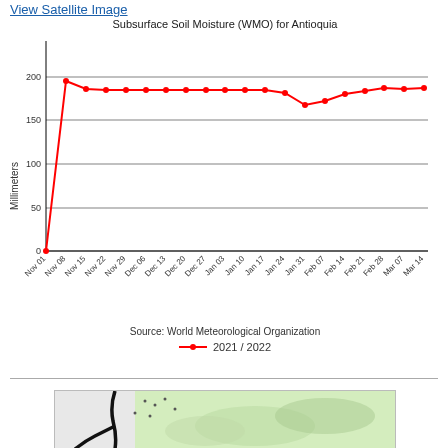View Satellite Image
[Figure (line-chart): Subsurface Soil Moisture (WMO) for Antioquia]
Source: World Meteorological Organization
[Figure (map): Satellite/topographic map image of Antioquia region showing terrain and roads]